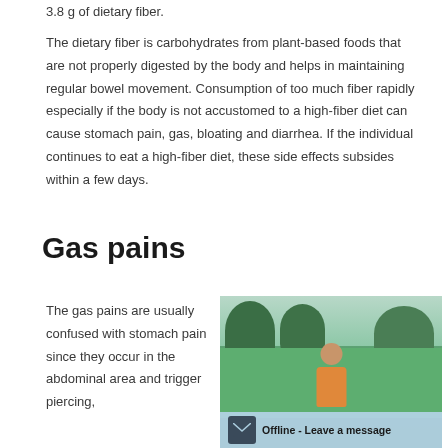3.8 g of dietary fiber.
The dietary fiber is carbohydrates from plant-based foods that are not properly digested by the body and helps in maintaining regular bowel movement. Consumption of too much fiber rapidly especially if the body is not accustomed to a high-fiber diet can cause stomach pain, gas, bloating and diarrhea. If the individual continues to eat a high-fiber diet, these side effects subsides within a few days.
Gas pains
The gas pains are usually confused with stomach pain since they occur in the abdominal area and trigger piercing,
[Figure (photo): A boy in an orange tank top standing on a green grass field with trees in the background outdoors]
Offline - Leave a message